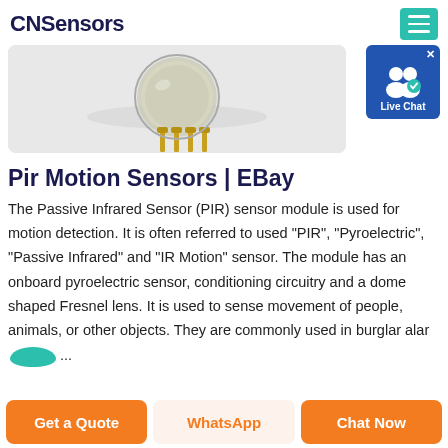CNSensors
[Figure (photo): Close-up photo of a PIR (Passive Infrared) sensor module showing gold pins on a circular glass/transparent component against a light grey background]
[Figure (other): Live Chat badge icon — blue square with white people icons and 'Live Chat' label]
Pir Motion Sensors | EBay
The Passive Infrared Sensor (PIR) sensor module is used for motion detection. It is often referred to used "PIR", "Pyroelectric", "Passive Infrared" and "IR Motion" sensor. The module has an onboard pyroelectric sensor, conditioning circuitry and a dome shaped Fresnel lens. It is used to sense movement of people, animals, or other objects. They are commonly used in burglar alar... ...
Get a Quote | WhatsApp | Chat Now